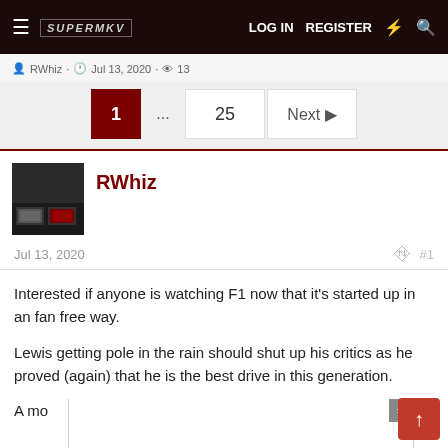SUPERMKV · LOG IN · REGISTER
RWhiz · Jul 13, 2020 · 13
1 ... 25 Next
RWhiz
Jul 13, 2020  #1
Interested if anyone is watching F1 now that it's started up in an fan free way.

Lewis getting pole in the rain should shut up his critics as he proved (again) that he is the best drive in this generation.

A mo